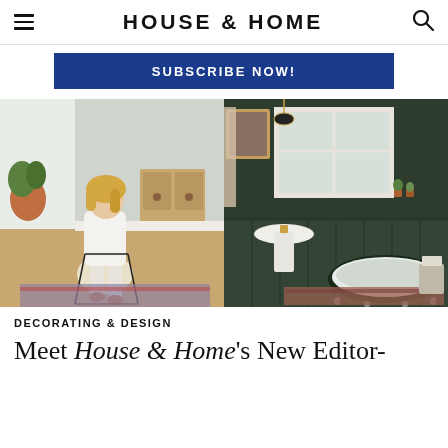HOUSE & HOME
[Figure (screenshot): Blue subscribe now banner button]
[Figure (photo): Two side-by-side photos: left shows a woman in white sitting on a wire chair in a bright room; right shows a dark green bathroom with clawfoot tub, pedestal sink, and window]
DECORATING & DESIGN
Meet House & Home's New Editor-